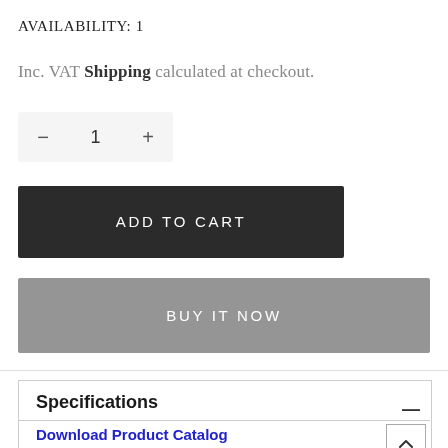AVAILABILITY: 1
Inc. VAT Shipping calculated at checkout.
− 1 +
ADD TO CART
BUY IT NOW
Specifications
Download Product Catalog
Download Product Manual